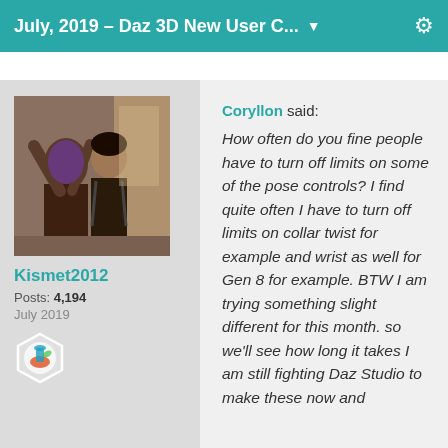July, 2019 – Daz 3D New User C... ▼
[Figure (photo): User avatar photo showing two figures, one wearing a purple mask]
Kismet2012
Posts: 4,194
July 2019
[Figure (illustration): Hexagonal badge icon with colorful design]
Coryllon said: How often do you fine people have to turn off limits on some of the pose controls? I find quite often I have to turn off limits on collar twist for example and wrist as well for Gen 8 for example. BTW I am trying something slight different for this month. so we'll see how long it takes I am still fighting Daz Studio to make these now and